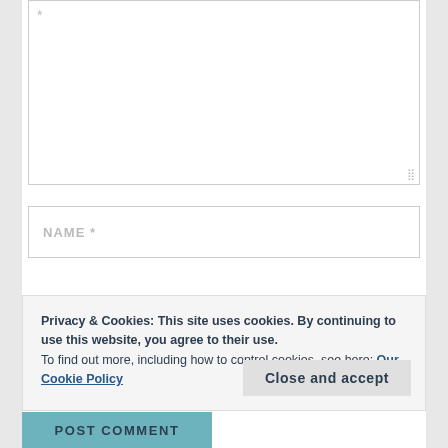*
NAME *
Privacy & Cookies: This site uses cookies. By continuing to use this website, you agree to their use.
To find out more, including how to control cookies, see here: Our Cookie Policy
Close and accept
POST COMMENT